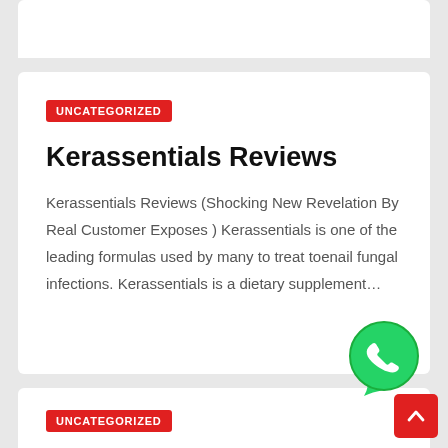UNCATEGORIZED
Kerassentials Reviews
Kerassentials Reviews (Shocking New Revelation By Real Customer Exposes ) Kerassentials is one of the leading formulas used by many to treat toenail fungal infections. Kerassentials is a dietary supplement…
UNCATEGORIZED
[Figure (logo): WhatsApp green circular chat bubble icon with phone handset]
[Figure (other): Red scroll-to-top button with upward chevron arrow]